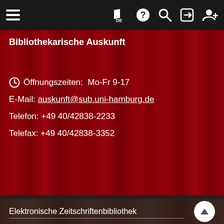Navigation bar with hamburger menu, DE flag, help, search, login, register icons
Bibliothekarische Auskunft
Öffnungszeiten: Mo-Fr 9-17
E-Mail: auskunft@sub.uni-hamburg.de
Telefon: +49 40/42838-2233
Telefax: +49 40/42838-3352
Elektronische Zeitschriftenbibliothek